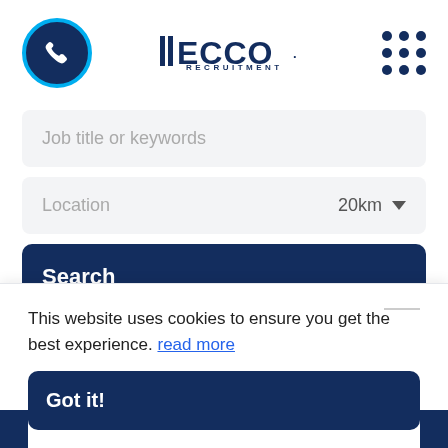[Figure (logo): ITECCO Recruitment logo with phone icon circle and dot grid menu]
Job title or keywords
Location  20km
Search
Reset Search
This website uses cookies to ensure you get the best experience. read more
Got it!